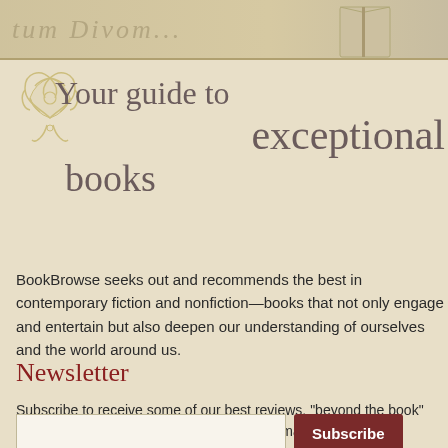[Figure (illustration): Top banner with decorative background showing cursive/script text and a book image on the right side]
[Figure (illustration): Decorative golden ornamental flourish/scroll design in top left corner]
Your guide to exceptional books
BookBrowse seeks out and recommends the best in contemporary fiction and nonfiction—books that not only engage and entertain but also deepen our understanding of ourselves and the world around us.
Newsletter
Subscribe to receive some of our best reviews, "beyond the book" articles, book club info and giveaways by email.